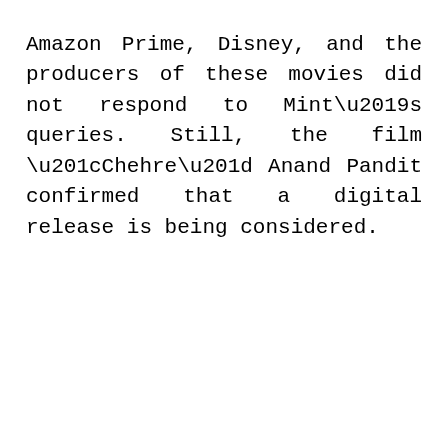Amazon Prime, Disney, and the producers of these movies did not respond to Mint's queries. Still, the film “Chehre” Anand Pandit confirmed that a digital release is being considered.